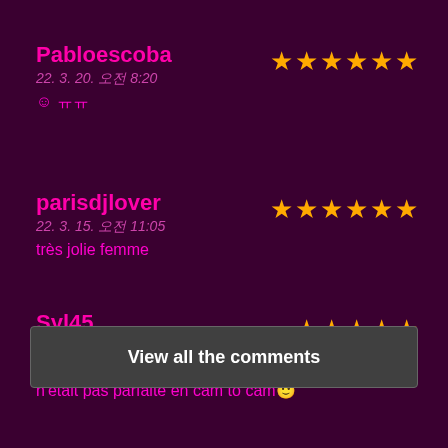Pabloescoba — 22. 3. 20. 오전 8:20 — ☺️ㅠㅠ — 6 stars
parisdjlover — 22. 3. 15. 오전 11:05 — très jolie femme — 5 stars
Syl45 — 22. 3. 11. 오전 2:48 — Tres jolie Femme, dommage que la connection n'était pas parfaite en cam to cam🙂 — 5 stars
View all the comments